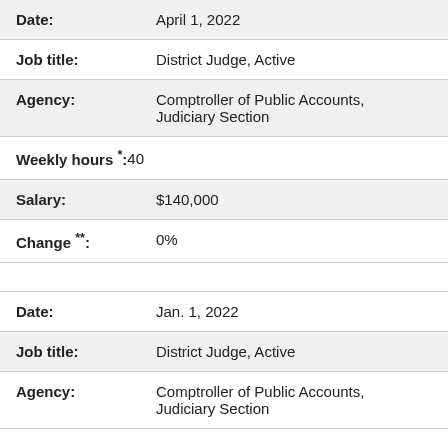| Date: | April 1, 2022 |
| Job title: | District Judge, Active |
| Agency: | Comptroller of Public Accounts, Judiciary Section |
| Weekly hours *: | 40 |
| Salary: | $140,000 |
| Change **: | 0% |
| Date: | Jan. 1, 2022 |
| Job title: | District Judge, Active |
| Agency: | Comptroller of Public Accounts, Judiciary Section |